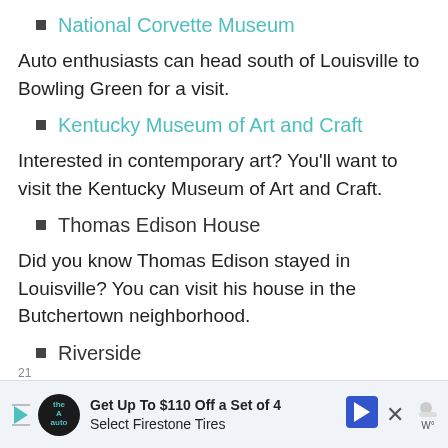National Corvette Museum
Auto enthusiasts can head south of Louisville to Bowling Green for a visit.
Kentucky Museum of Art and Craft
Interested in contemporary art? You'll want to visit the Kentucky Museum of Art and Craft.
Thomas Edison House
Did you know Thomas Edison stayed in Louisville? You can visit his house in the Butchertown neighborhood.
Riverside
[Figure (other): Advertisement banner: Get Up To $110 Off a Set of 4 Select Firestone Tires]